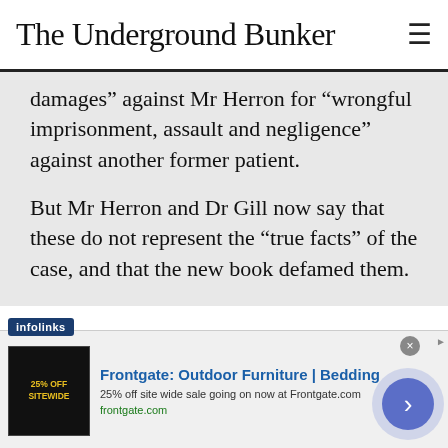The Underground Bunker
damages” against Mr Herron for “wrongful imprisonment, assault and negligence” against another former patient.

But Mr Herron and Dr Gill now say that these do not represent the “true facts” of the case, and that the new book defamed them.
(That’s a quote from this excellent piece on the [lawsuit by Michael Bachelard at the Sydney...